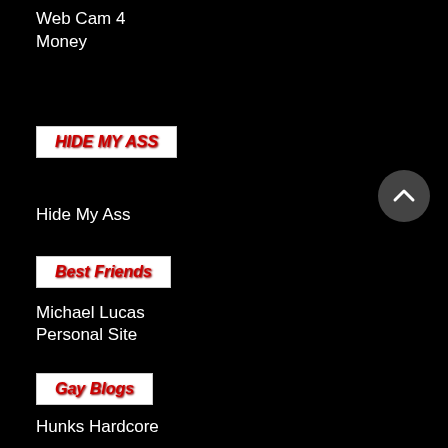Web Cam 4 Money
[Figure (other): HIDE MY ASS button label with red bold italic text on white background]
Hide My Ass
[Figure (other): Best Friends button label with red bold italic text on white background]
Michael Lucas
Personal Site
[Figure (other): Gay Blogs button label with red bold italic text on white background]
Hunks Hardcore
Cock Pig Porn Blog
GAYMANICUS
Sex Blog
Dirty Geek
Best Of Gay
Muscle Blog
NextDoor Studios